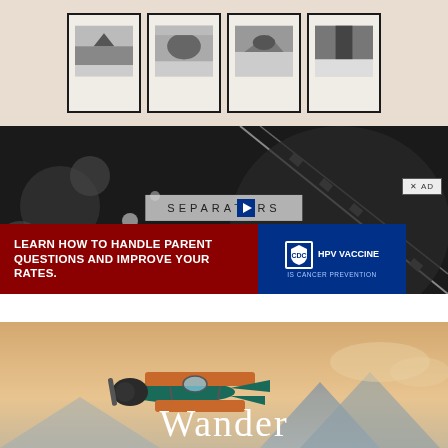[Figure (photo): Four framed black-and-white landscape photographs displayed on a beige/tan background]
[Figure (photo): Black-and-white macro photograph of mechanical gears/watch parts with a centered text label reading SEPARATORS and an XAD button overlay]
[Figure (photo): Advertisement banner: dark red background with white bold text 'LEARN HOW TO HANDLE PARENT QUESTIONS AND IMPROVE YOUR RATES.' alongside blue panel with CDC logo and 'HPV VACCINE IS CANCER PREVENTION' text]
[Figure (photo): Vintage biplane (orange/wood colored) flying against a warm sky with mountains in background, with large white serif text 'Wander' partially visible at bottom]